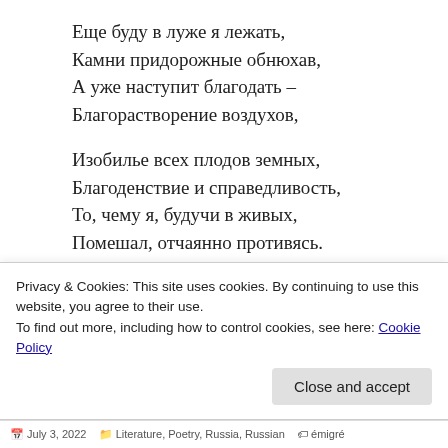Еще буду в луже я лежать,
Камни придорожные обнюхав,
А уже наступит благодать –
Благорастворение воздухов,

Изобилье всех плодов земных,
Благоденствие и справедливость,
То, чему я, будучи в живых,
Помешал, отчаянно противясь.
SHARE THIS:
[Figure (illustration): Twitter and Facebook share buttons (circular blue icons)]
Privacy & Cookies: This site uses cookies. By continuing to use this website, you agree to their use.
To find out more, including how to control cookies, see here: Cookie Policy
July 3, 2022   Literature, Poetry, Russia, Russian   émigré